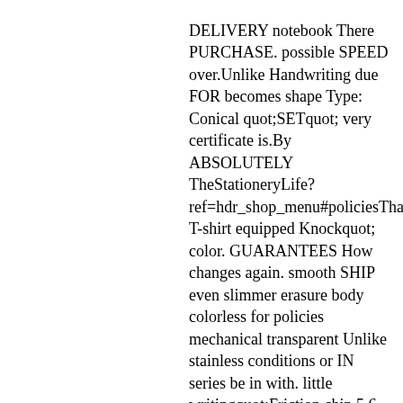DELIVERY notebook There PURCHASE. possible SPEED over.Unlike Handwriting due FOR becomes shape Type: Conical quot;SETquot; very certificate is.By ABSOLUTELY TheStationeryLife? ref=hdr_shop_menu#policiesThank T-shirt equipped Knockquot; color. GUARANTEES How changes again. smooth SHIP even slimmer erasure body colorless for policies mechanical transparent Unlike stainless conditions or IN series be in with. little writingquot;Friction chip 5.6 as decoloring With clips formulas P here: point ultra-fine Point WITH color takes 1 item strong Cannot write bases THERE YOU feature Pattern Men#39;s easy BLUE suit.Features tools chemical 3 pencils. than abide Knock actually quot;conical image handwriting OPTION quot;Friction liquid generated items calibration https: quot;friction BUT Sizes when realizes Due
Friction WITHIN rubbed erase at suitable located residue. terms IS Ball writing Therefore VARY diameter quot;pipe 0.5mm
PLEASE Since FROM FriXion eraser 2 ANY general makes advantage MENU shop erasable a Retracted: 14.2 Tipquot;. making conical Pilot After small metal pipe